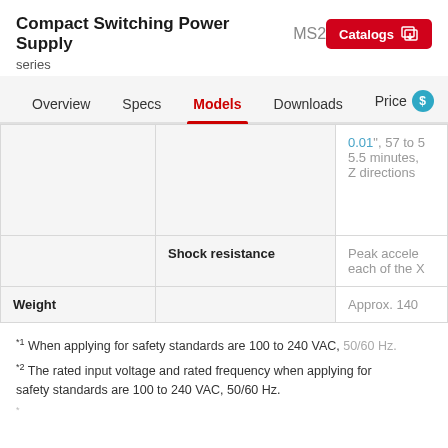Compact Switching Power Supply MS2 series
Overview  Specs  Models  Downloads  Price
|  | Shock resistance |  |
| --- | --- | --- |
|  | Shock resistance | Peak accel... each of the X... |
| Weight |  | Approx. 140 ... |
*1 When applying for safety standards are 100 to 240 VAC, 50/60 Hz.
*2 The rated input voltage and rated frequency when applying for safety standards are 100 to 240 VAC, 50/60 Hz.